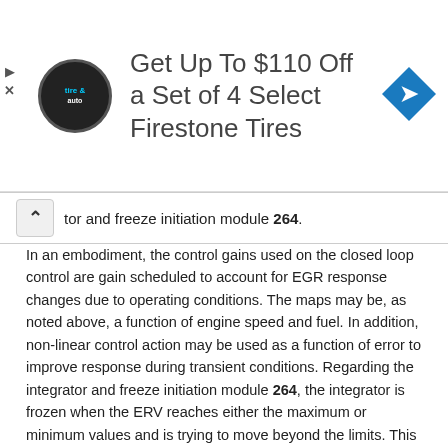[Figure (other): Advertisement banner for Firestone Tires: 'Get Up To $110 Off a Set of 4 Select Firestone Tires' with tire and auto logo circle and blue diamond navigation icon]
tor and freeze initiation module 264.
In an embodiment, the control gains used on the closed loop control are gain scheduled to account for EGR response changes due to operating conditions. The maps may be, as noted above, a function of engine speed and fuel. In addition, non-linear control action may be used as a function of error to improve response during transient conditions. Regarding the integrator and freeze initiation module 264, the integrator is frozen when the ERV reaches either the maximum or minimum values and is trying to move beyond the limits. This prevents integrator wind-up and associated problems. The integrator may be initialized before starting the closed loop control to guarantee that the control is starting from a known condition
In the illustrated example, the ERV control gain schedule 263 has as its input the aforementioned difference. Similarly, the integrator and freeze initiation module 264 takes the desired EGR as its input along with a limit value to be discussed later.
In parallel, the ERV feed forward control module 261 receives as input the